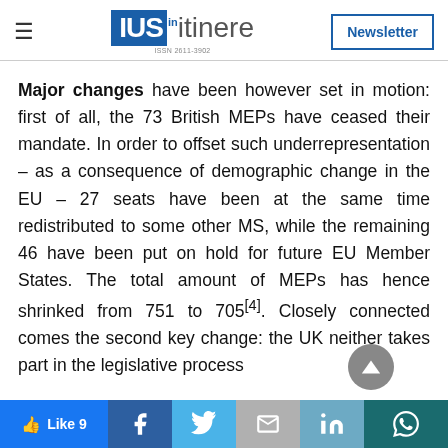IUS in itinere — Newsletter
Major changes have been however set in motion: first of all, the 73 British MEPs have ceased their mandate. In order to offset such underrepresentation – as a consequence of demographic change in the EU – 27 seats have been at the same time redistributed to some other MS, while the remaining 46 have been put on hold for future EU Member States. The total amount of MEPs has hence shrinked from 751 to 705[4]. Closely connected comes the second key change: the UK neither takes part in the legislative process
Like 9 | Facebook | Twitter | Gmail | LinkedIn | WhatsApp